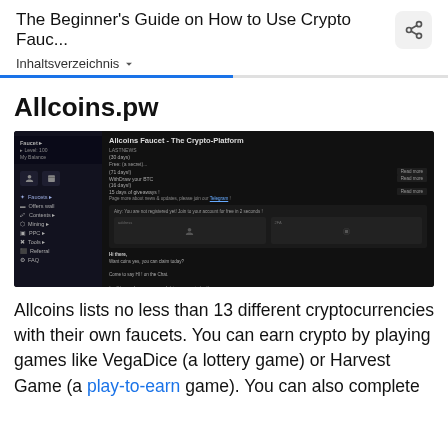The Beginner's Guide on How to Use Crypto Fauc...
Inhaltsverzeichnis ▾
Allcoins.pw
[Figure (screenshot): Screenshot of the Allcoins.pw cryptocurrency faucet platform showing a dark-themed interface with a sidebar navigation menu and main content area displaying news items and a login/register form.]
Allcoins lists no less than 13 different cryptocurrencies with their own faucets. You can earn crypto by playing games like VegaDice (a lottery game) or Harvest Game (a play-to-earn game). You can also complete